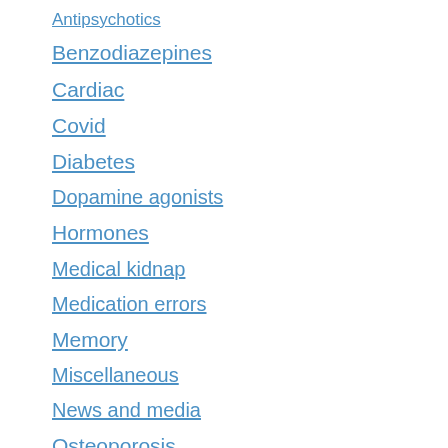Antipsychotics
Benzodiazepines
Cardiac
Covid
Diabetes
Dopamine agonists
Hormones
Medical kidnap
Medication errors
Memory
Miscellaneous
News and media
Osteoporosis
Pain-killers
Petitions
Politics of care